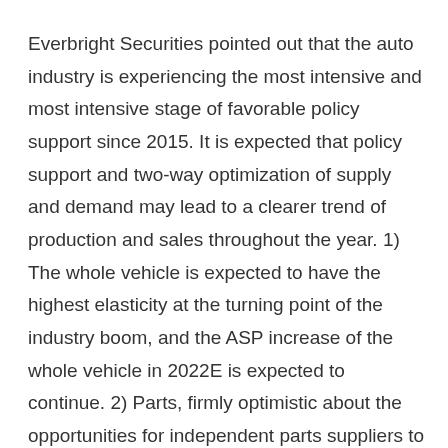Everbright Securities pointed out that the auto industry is experiencing the most intensive and most intensive stage of favorable policy support since 2015. It is expected that policy support and two-way optimization of supply and demand may lead to a clearer trend of production and sales throughout the year. 1) The whole vehicle is expected to have the highest elasticity at the turning point of the industry boom, and the ASP increase of the whole vehicle in 2022E is expected to continue. 2) Parts, firmly optimistic about the opportunities for independent parts suppliers to rise upward; among them, the shortage of supply chain may further catalyze the development of domestic